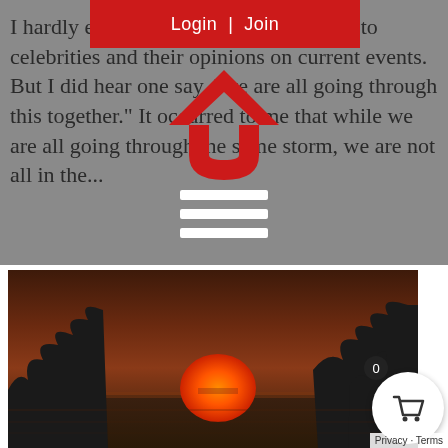I hardly ever... [listen] to celebrities and their opinions on current events. But I did hear one say, “we are all going through this together.” It occurred to me that while we are all going through the same storm, we are not all in the...
[Figure (screenshot): Login | Join red navigation bar overlay]
[Figure (logo): Red and white chevron/house logo SVG overlay]
[Figure (illustration): White hamburger menu icon (three horizontal lines)]
[Figure (photo): Sunset photo showing a large orange sun setting over water with silhouetted plants/trees in the foreground against a dark reddish-brown sky]
0
Privacy · Terms